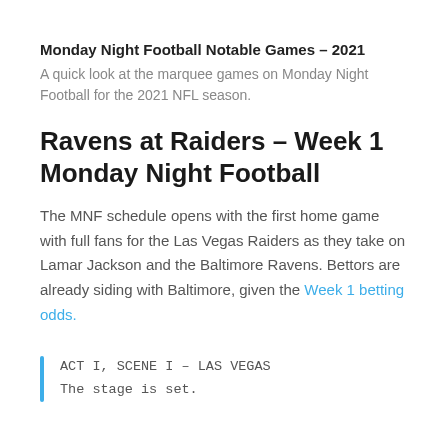Monday Night Football Notable Games – 2021
A quick look at the marquee games on Monday Night Football for the 2021 NFL season.
Ravens at Raiders – Week 1 Monday Night Football
The MNF schedule opens with the first home game with full fans for the Las Vegas Raiders as they take on Lamar Jackson and the Baltimore Ravens. Bettors are already siding with Baltimore, given the Week 1 betting odds.
ACT I, SCENE I – LAS VEGAS
The stage is set.